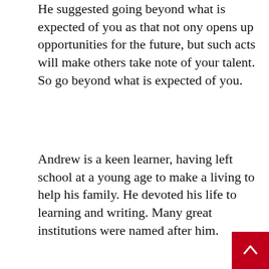He suggested going beyond what is expected of you as that not only opens up opportunities for the future, but such acts will make others take note of your talent. So go beyond what is expected of you.
Andrew is a keen learner, having left school at a young age to make a living to help his family. He devoted his life to learning and writing. Many great institutions were named after him.
[Figure (other): Advertisement banner for FutureLearn: 'Who says you CAN'T be a business leader?' with a photo of a woman and a diamond 'DEFY' graphic, FutureLearn logo and 'Find out more' button.]
Provide great service to others and specialize in one business to the exclusion of all others. In fact, rather than being a generalist, become a specialist. In his case, he specialized in the manufacture of steel. At the time of great manufacturing and railroad construction, he focused on how to